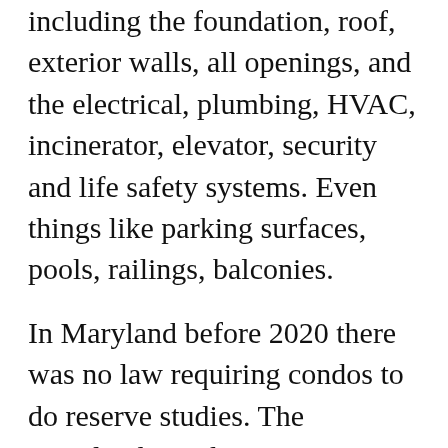including the foundation, roof, exterior walls, all openings, and the electrical, plumbing, HVAC, incinerator, elevator, security and life safety systems. Even things like parking surfaces, pools, railings, balconies.
In Maryland before 2020 there was no law requiring condos to do reserve studies. The Maryland Condominium Act pertaining only to Prince George’s and Montgomery Counties (not to the rest of the state) was amended to require performing a reserve study every 5 years for “common property major structural